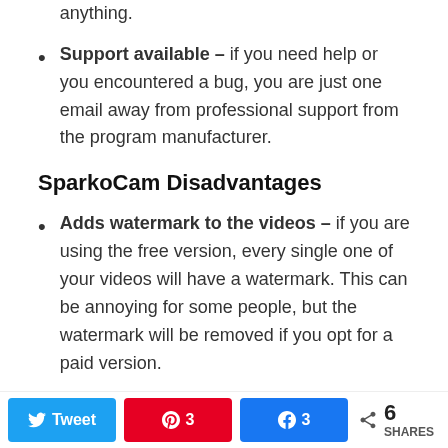anything.
Support available – if you need help or you encountered a bug, you are just one email away from professional support from the program manufacturer.
SparkoCam Disadvantages
Adds watermark to the videos – if you are using the free version, every single one of your videos will have a watermark. This can be annoying for some people, but the watermark will be removed if you opt for a paid version.
Average video quality – since the DSLR is using the USB to send the video signal to your
Tweet | 3 | 3 | 6 SHARES